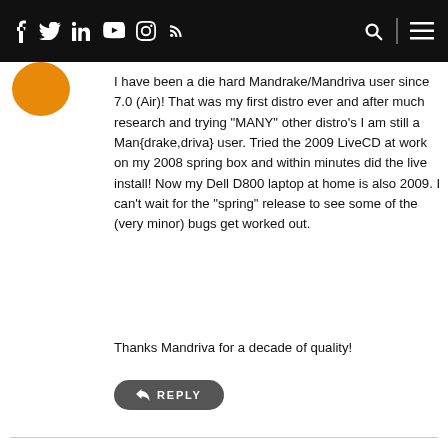f  twitter  in  youtube  instagram  rss  [search] [menu]
I have been a die hard Mandrake/Mandriva user since 7.0 (Air)! That was my first distro ever and after much research and trying "MANY" other distro's I am still a Man{drake,driva} user. Tried the 2009 LiveCD at work on my 2008 spring box and within minutes did the live install! Now my Dell D800 laptop at home is also 2009. I can't wait for the "spring" release to see some of the (very minor) bugs get worked out.

Thanks Mandriva for a decade of quality!
↩ REPLY